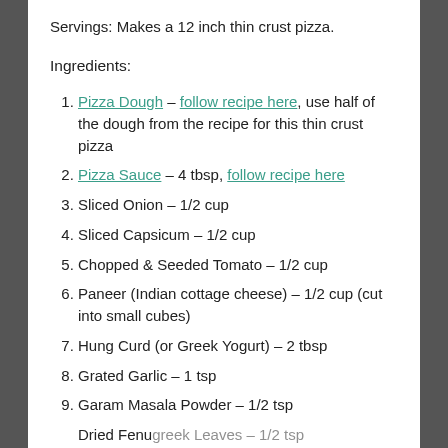Servings: Makes a 12 inch thin crust pizza.
Ingredients:
Pizza Dough – follow recipe here, use half of the dough from the recipe for this thin crust pizza
Pizza Sauce – 4 tbsp, follow recipe here
Sliced Onion – 1/2 cup
Sliced Capsicum – 1/2 cup
Chopped & Seeded Tomato – 1/2 cup
Paneer (Indian cottage cheese) – 1/2 cup (cut into small cubes)
Hung Curd (or Greek Yogurt) – 2 tbsp
Grated Garlic – 1 tsp
Garam Masala Powder – 1/2 tsp
Dried Fenugreek Leaves – 1/2 tsp